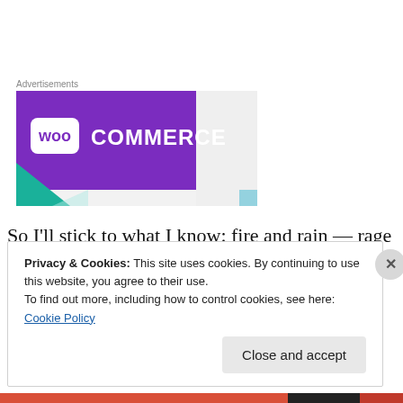Advertisements
[Figure (logo): WooCommerce advertisement banner with purple background showing WooCommerce logo in white, with teal and light gray decorative shapes]
So I'll stick to what I know: fire and rain — rage and cold, heat and water, warmth and sustenance, life and life.
Privacy & Cookies: This site uses cookies. By continuing to use this website, you agree to their use.
To find out more, including how to control cookies, see here: Cookie Policy
Close and accept